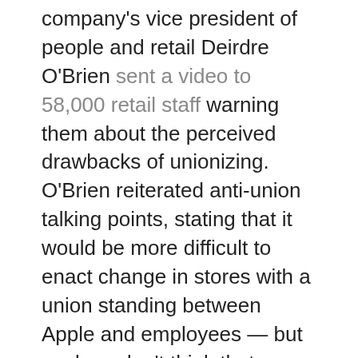company's vice president of people and retail Deirdre O'Brien sent a video to 58,000 retail staff warning them about the perceived drawbacks of unionizing. O'Brien reiterated anti-union talking points, stating that it would be more difficult to enact change in stores with a union standing between Apple and employees — but workers don't think that meaningful change is possible without having a formally recognized bargaining unit.

A store in Atlanta was supposed to be the first to hold a union election, but the